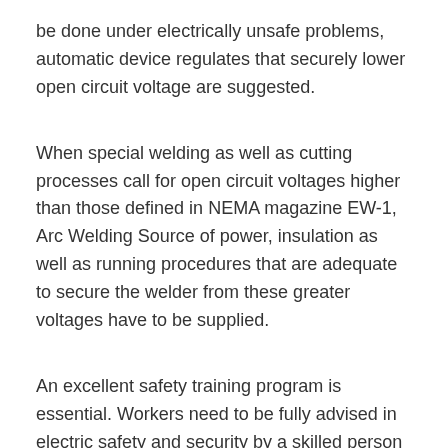be done under electrically unsafe problems, automatic device regulates that securely lower open circuit voltage are suggested.
When special welding as well as cutting processes call for open circuit voltages higher than those defined in NEMA magazine EW-1, Arc Welding Source of power, insulation as well as running procedures that are adequate to secure the welder from these greater voltages have to be supplied.
An excellent safety training program is essential. Workers need to be fully advised in electric safety and security by a skilled person prior to being permitted to commence